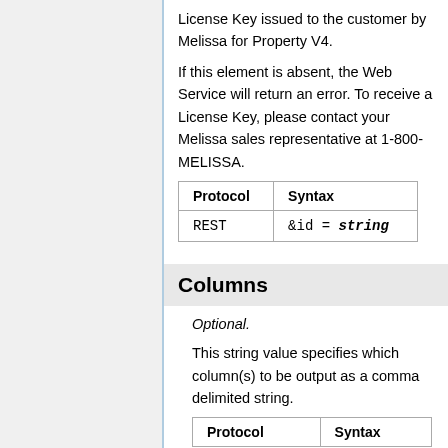License Key issued to the customer by Melissa for Property V4.
If this element is absent, the Web Service will return an error. To receive a License Key, please contact your Melissa sales representative at 1-800-MELISSA.
| Protocol | Syntax |
| --- | --- |
| REST | &id = string |
Columns
Optional.
This string value specifies which column(s) to be output as a comma delimited string.
| Protocol | Syntax |
| --- | --- |